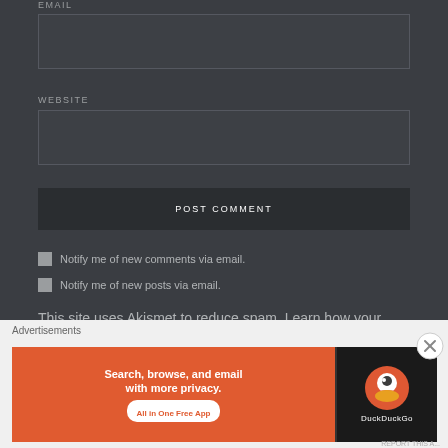EMAIL
[Figure (screenshot): Email input text field, dark background]
WEBSITE
[Figure (screenshot): Website input text field, dark background]
POST COMMENT
Notify me of new comments via email.
Notify me of new posts via email.
This site uses Akismet to reduce spam. Learn how your comment data is processed.
Advertisements
[Figure (screenshot): DuckDuckGo advertisement banner: 'Search, browse, and email with more privacy. All in One Free App' on orange background with DuckDuckGo logo on dark right panel]